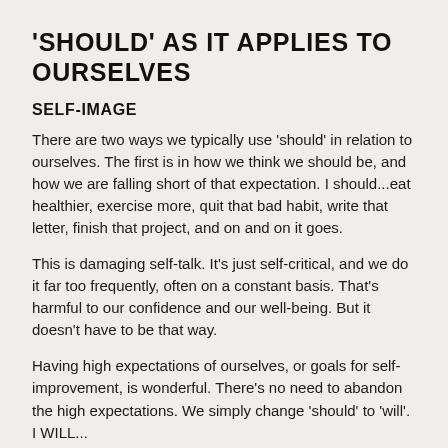'SHOULD' AS IT APPLIES TO OURSELVES
SELF-IMAGE
There are two ways we typically use 'should' in relation to ourselves. The first is in how we think we should be, and how we are falling short of that expectation. I should...eat healthier, exercise more, quit that bad habit, write that letter, finish that project, and on and on it goes.
This is damaging self-talk. It's just self-critical, and we do it far too frequently, often on a constant basis. That's harmful to our confidence and our well-being. But it doesn't have to be that way.
Having high expectations of ourselves, or goals for self-improvement, is wonderful. There's no need to abandon the high expectations. We simply change 'should' to 'will'. I WILL...